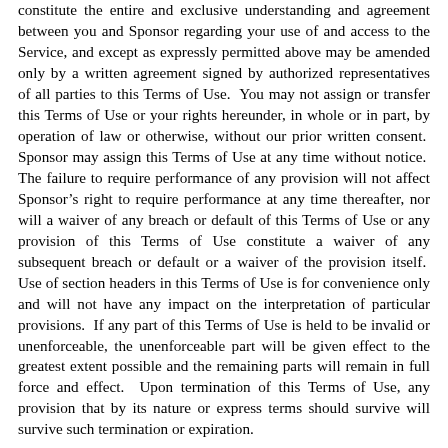constitute the entire and exclusive understanding and agreement between you and Sponsor regarding your use of and access to the Service, and except as expressly permitted above may be amended only by a written agreement signed by authorized representatives of all parties to this Terms of Use.  You may not assign or transfer this Terms of Use or your rights hereunder, in whole or in part, by operation of law or otherwise, without our prior written consent.  Sponsor may assign this Terms of Use at any time without notice.  The failure to require performance of any provision will not affect Sponsor's right to require performance at any time thereafter, nor will a waiver of any breach or default of this Terms of Use or any provision of this Terms of Use constitute a waiver of any subsequent breach or default or a waiver of the provision itself.  Use of section headers in this Terms of Use is for convenience only and will not have any impact on the interpretation of particular provisions.  If any part of this Terms of Use is held to be invalid or unenforceable, the unenforceable part will be given effect to the greatest extent possible and the remaining parts will remain in full force and effect.  Upon termination of this Terms of Use, any provision that by its nature or express terms should survive will survive such termination or expiration.
13. Dispute Resolution and Arbitration.
13.1 Generally.  In the interest of resolving disputes between you and Sponsor in the most expedient and cost effective